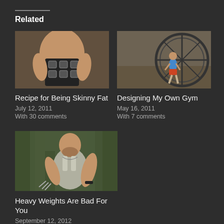Related
[Figure (photo): Man holding a weighted vest or body armor with square pockets, shirtless, muscular build]
[Figure (photo): Man running inside a large hamster-wheel-like exercise device in a gym]
Recipe for Being Skinny Fat
July 12, 2011
With 30 comments
Designing My Own Gym
May 16, 2011
With 7 comments
[Figure (photo): Muscular man in white tank top resembling Wolverine, running through forest with claws]
Heavy Weights Are Bad For You
September 12, 2012